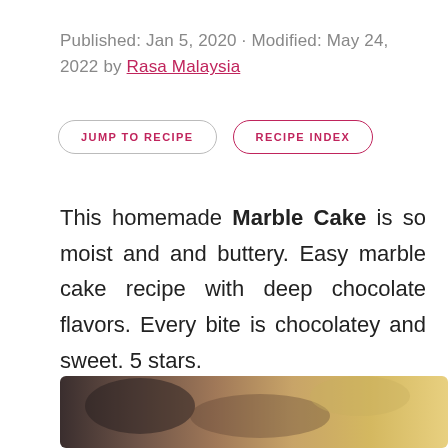Published: Jan 5, 2020 · Modified: May 24, 2022 by Rasa Malaysia
JUMP TO RECIPE
RECIPE INDEX
This homemade Marble Cake is so moist and and buttery. Easy marble cake recipe with deep chocolate flavors. Every bite is chocolatey and sweet. 5 stars.
[Figure (photo): Partial view of a marble cake photo strip at the bottom of the page]